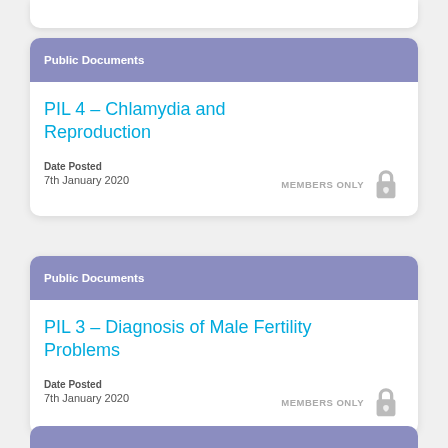Public Documents
PIL 4 – Chlamydia and Reproduction
Date Posted
7th January 2020
MEMBERS ONLY
Public Documents
PIL 3 – Diagnosis of Male Fertility Problems
Date Posted
7th January 2020
MEMBERS ONLY